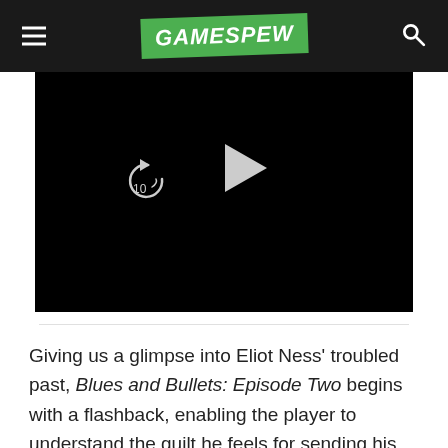GAMESPEW
[Figure (screenshot): Video player with black screen, replay and play buttons, progress bar, time display showing 00:00 / 00:32, volume mute icon, gear/settings icon, and fullscreen icon]
Giving us a glimpse into Eliot Ness' troubled past, Blues and Bullets: Episode Two begins with a flashback, enabling the player to understand the guilt he feels for sending his colleagues to their death as he cavorts with his best friends wife. It's when the game switches back to Ness' present day